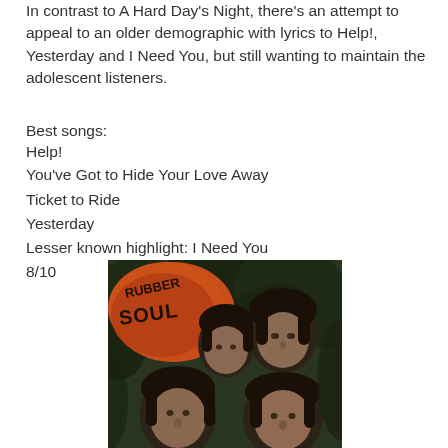In contrast to A Hard Day's Night, there's an attempt to appeal to an older demographic with lyrics to Help!, Yesterday and I Need You, but still wanting to maintain the adolescent listeners.
Best songs:
Help!
You've Got to Hide Your Love Away
Ticket to Ride
Yesterday
Lesser known highlight: I Need You
8/10
[Figure (photo): Rubber Soul album cover showing the Beatles band members with the Rubber Soul logo in orange/red text at the top left]